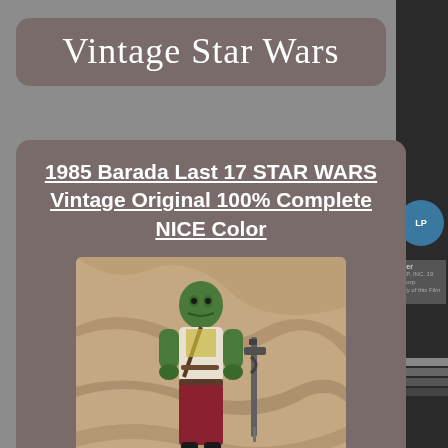Vintage Star Wars
1985 Barada Last 17 STAR WARS Vintage Original 100% Complete NICE Color
[Figure (photo): Photo of a 1985 Barada action figure from Star Wars, showing a green-skinned alien figure with red pants, white torso, and a blaster accessory, displayed against a stone/marble textured background.]